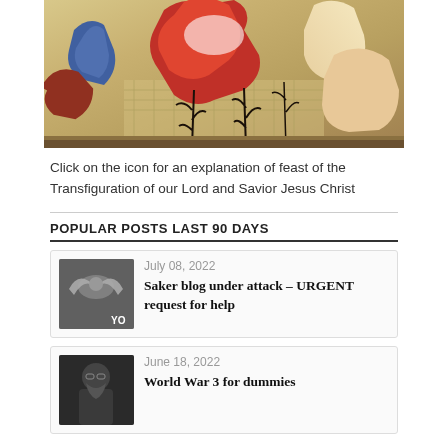[Figure (illustration): Religious icon depicting the Transfiguration of Christ with figures in red and gold]
Click on the icon for an explanation of feast of the Transfiguration of our Lord and Savior Jesus Christ
POPULAR POSTS LAST 90 DAYS
July 08, 2022 — Saker blog under attack – URGENT request for help
June 18, 2022 — World War 3 for dummies